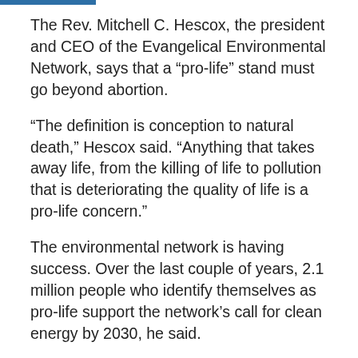The Rev. Mitchell C. Hescox, the president and CEO of the Evangelical Environmental Network, says that a “pro-life” stand must go beyond abortion.
“The definition is conception to natural death,” Hescox said. “Anything that takes away life, from the killing of life to pollution that is deteriorating the quality of life is a pro-life concern.”
The environmental network is having success. Over the last couple of years, 2.1 million people who identify themselves as pro-life support the network’s call for clean energy by 2030, he said.
For many evangelicals, however, finding common ground with climate activists requires a leap of faith.
Faith shapes peoples’ worldviews, including their